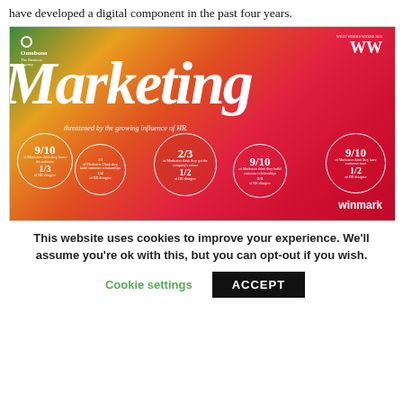have developed a digital component in the past four years.
[Figure (infographic): Marketing infographic with colorful gradient background (green to red). Large 'Marketing' text in white italic serif font. Several white circles with statistics about Marketers vs HR: 9/10 of Marketers think they know the audience, 1/3 of HR disagree; 2/3 of Marketers think they build customer relationships, 1/2 of HR disagree; 2/3 of Marketers think they get the company's values, 1/2 of HR disagree; 9/10 of Marketers think they build customer relationships, 1/3 of HR disagree; 9/10 of Marketers think they have customer trust, 1/2 of HR disagree. Tagline: threatened by the growing influence of HR. Omobono and Winmark logos visible.]
This website uses cookies to improve your experience. We'll assume you're ok with this, but you can opt-out if you wish.
Cookie settings
ACCEPT